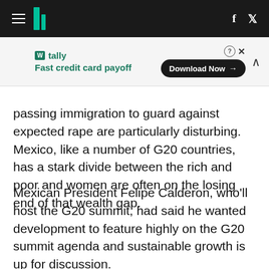HuffPost navigation header with hamburger menu, logo, Facebook and Twitter icons
[Figure (other): Tally app advertisement banner: 'Fast credit card payoff' with Download Now button]
passing immigration to guard against expected rape are particularly disturbing. Mexico, like a number of G20 countries, has a stark divide between the rich and poor and women are often on the losing end of that wealth gap.
Mexican President Felipe Calderon, who'll host the G20 summit, had said he wanted development to feature highly on the G20 summit agenda and sustainable growth is up for discussion.